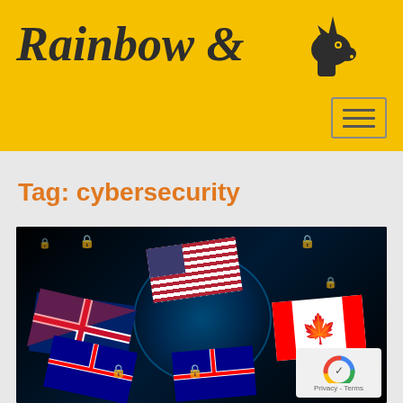Rainbow &
Tag: cybersecurity
[Figure (photo): Cybersecurity concept image showing a glowing digital globe surrounded by flags of USA, UK, Canada, and Australia, with padlock icons and digital security symbols on a dark background. A reCAPTCHA privacy/terms badge is visible in the bottom right corner.]